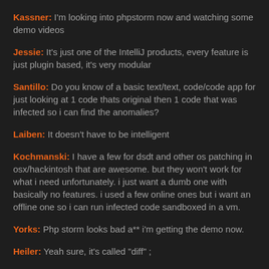Kassner: I'm looking into phpstorm now and watching some demo videos
Jessie: It's just one of the IntelliJ products, every feature is just plugin based, it's very modular
Santillo: Do you know of a basic text/text, code/code app for just looking at 1 code thats original then 1 code that was infected so i can find the anomalies?
Laiben: It doesn't have to be intelligent
Kochmanski: I have a few for dsdt and other os patching in osx/hackintosh that are awesome. but they won't work for what i need unfortunately. i just want a dumb one with basically no features. i used a few online ones but i want an offline one so i can run infected code sandboxed in a vm.
Yorks: Php storm looks bad a** i'm getting the demo now.
Heiler: Yeah sure, it's called "diff" ;